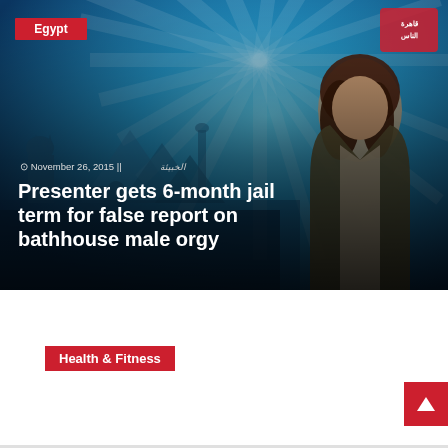[Figure (screenshot): News article thumbnail showing a female TV presenter standing in front of an Egyptian landmarks background (pyramids, mosque, sphinx) with blue ray burst effect. A TV channel logo is in the top right. The image overlay text includes a date and headline.]
Egypt
November 26, 2015
Presenter gets 6-month jail term for false report on bathhouse male orgy
Health & Fitness